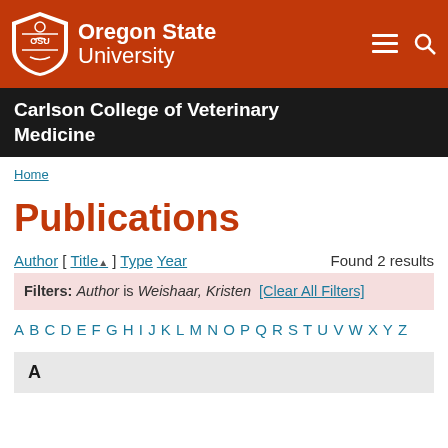[Figure (logo): Oregon State University logo with shield icon and text 'Oregon State University' on orange header bar with hamburger menu and search icons]
Carlson College of Veterinary Medicine
Home
Publications
Author [ Title▲ ] Type Year   Found 2 results
Filters: Author is Weishaar, Kristen [Clear All Filters]
A B C D E F G H I J K L M N O P Q R S T U V W X Y Z
A